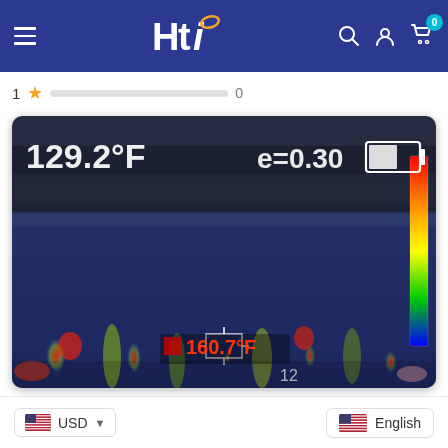HTi — navigation bar with hamburger menu, logo, search, account, and cart icons
1 ★ [rating bar] 0
[Figure (photo): Thermal infrared camera image showing a surface with heat signatures. Overlay text shows 129.2°F, e=0.30, and a center marker reading 160.7°F. A color gradient bar is visible on the right side.]
USD  English